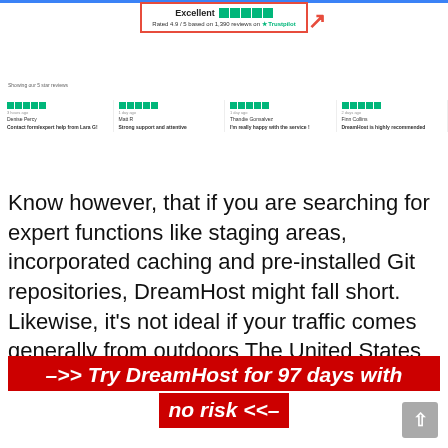[Figure (screenshot): Trustpilot review widget screenshot showing 'Excellent' rating with 5 green stars, rated 4.9/5 based on 1,390 reviews on Trustpilot, with a red border highlight and red arrow pointing to it. Below shows a row of four 5-star reviews with reviewer names and titles.]
Know however, that if you are searching for expert functions like staging areas, incorporated caching and pre-installed Git repositories, DreamHost might fall short. Likewise, it's not ideal if your traffic comes generally from outdoors The United States and Canada.
–>> Try DreamHost for 97 days with no risk <<–